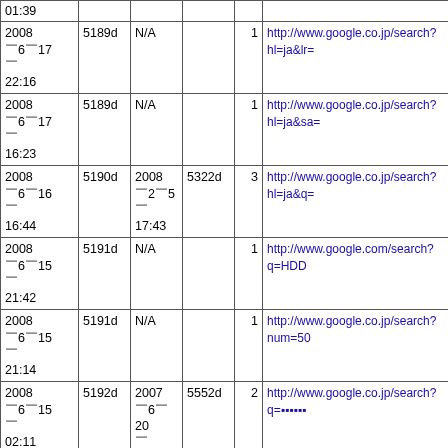| Date | ID | Sub | Sub2 | Num | URL |
| --- | --- | --- | --- | --- | --- |
| 01:39 |  |  |  |  |  |
| 2008
0617

22:16 | 5189d | N/A |  | 1 | http://www.google.co.jp/search?hl=ja&lr= |
| 2008
0617

16:23 | 5189d | N/A |  | 1 | http://www.google.co.jp/search?hl=ja&sa= |
| 2008
0616

16:44 | 5190d | 2008
025
17:43 | 5322d | 3 | http://www.google.co.jp/search?hl=ja&q= |
| 2008
0615

21:42 | 5191d | N/A |  | 1 | http://www.google.com/search?q=HDD |
| 2008
0615

21:14 | 5191d | N/A |  | 1 | http://www.google.co.jp/search?num=50 |
| 2008
0615

02:11 | 5192d | 2007
0620

15:13 | 5552d | 2 | http://www.google.co.jp/search?q=■■■■■■ |
| 2008
0615
 | 5192d | N/A |  | 1 | http://www.google.co.jp/search?hl=ja&lr= |